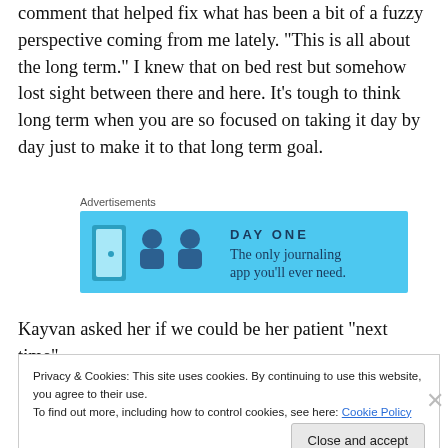comment that helped fix what has been a bit of a fuzzy perspective coming from me lately. “This is all about the long term.” I knew that on bed rest but somehow lost sight between there and here. It’s tough to think long term when you are so focused on taking it day by day just to make it to that long term goal.
[Figure (other): Advertisement banner for DAY ONE journaling app with light blue background, app icons, and tagline 'The only journaling app you’ll ever need.']
Kayvan asked her if we could be her patient “next time”
Privacy & Cookies: This site uses cookies. By continuing to use this website, you agree to their use.
To find out more, including how to control cookies, see here: Cookie Policy